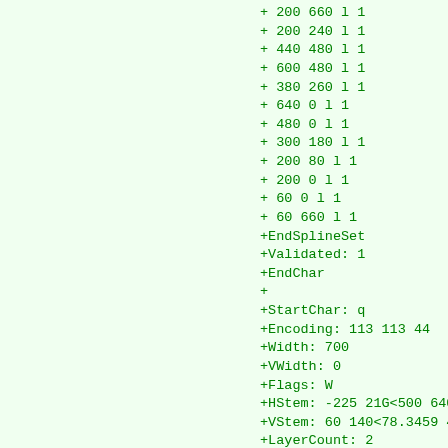+ 200 660 l 1
+ 200 240 l 1
+ 440 480 l 1
+ 600 480 l 1
+ 380 260 l 1
+ 640 0 l 1
+ 480 0 l 1
+ 300 180 l 1
+ 200 80 l 1
+ 200 0 l 1
+ 60 0 l 1
+ 60 660 l 1
+EndSplineSet
+Validated: 1
+EndChar
+
+StartChar: q
+Encoding: 113 113 44
+Width: 700
+VWidth: 0
+Flags: W
+HStem: -225 21G<500 640> 0 7
+VStem: 60 140<78.3459 401.65
+LayerCount: 2
+Fore
+SplineSet
+260 480 m 2
+ 640 480 l 1
+ 640 -225 l 1
+ 500 -225 l 1
+ 500 0 l 1
+ 260 0 l 2